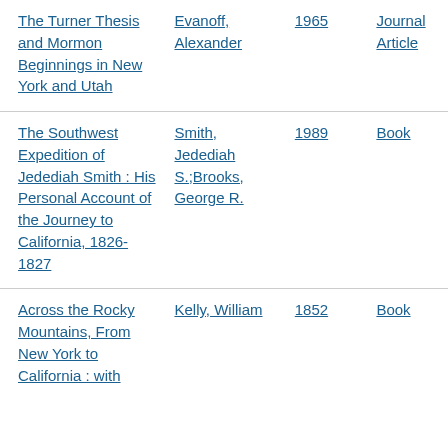| The Turner Thesis and Mormon Beginnings in New York and Utah | Evanoff, Alexander | 1965 | Journal Article |
| The Southwest Expedition of Jedediah Smith : His Personal Account of the Journey to California, 1826-1827 | Smith, Jedediah S.;Brooks, George R. | 1989 | Book |
| Across the Rocky Mountains, From New York to California : with | Kelly, William | 1852 | Book |